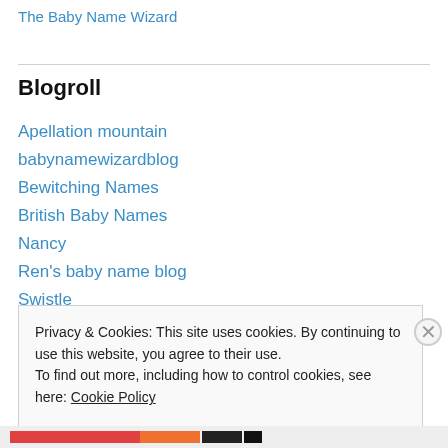The Baby Name Wizard
Blogroll
Apellation mountain
babynamewizardblog
Bewitching Names
British Baby Names
Nancy
Ren's baby name blog
Swistle
Privacy & Cookies: This site uses cookies. By continuing to use this website, you agree to their use. To find out more, including how to control cookies, see here: Cookie Policy
Close and accept